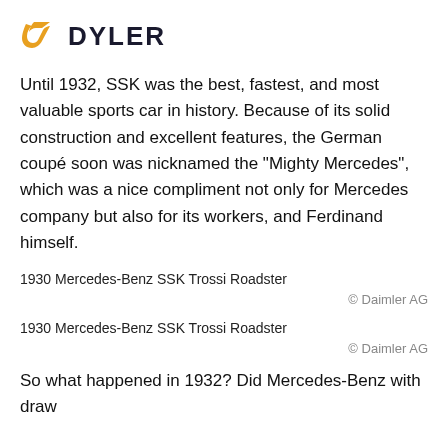DYLER
Until 1932, SSK was the best, fastest, and most valuable sports car in history. Because of its solid construction and excellent features, the German coupé soon was nicknamed the “Mighty Mercedes”, which was a nice compliment not only for Mercedes company but also for its workers, and Ferdinand himself.
1930 Mercedes-Benz SSK Trossi Roadster
© Daimler AG
1930 Mercedes-Benz SSK Trossi Roadster
© Daimler AG
So what happened in 1932? Did Mercedes-Benz withdraw...